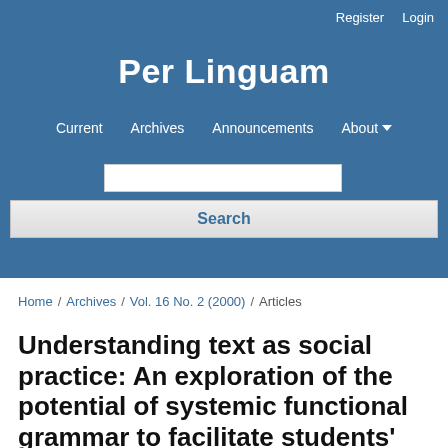Register   Login
Per Linguam
Current   Archives   Announcements   About
Search
Home / Archives / Vol. 16 No. 2 (2000) / Articles
Understanding text as social practice: An exploration of the potential of systemic functional grammar to facilitate students' interpretation of media texts.